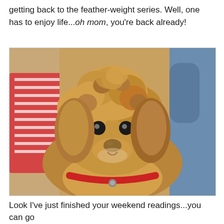getting back to the feather-weight series. Well, one has to enjoy life...oh mom, you're back already!
[Figure (photo): Close-up photo of a fluffy reddish-brown toy poodle dog with curly fur, dark eyes, a black nose, and wearing a red collar. The dog is surrounded by colorful pillows and denim fabric in the background.]
Look I've just finished your weekend readings...you can go back to the kitchen and make me something good...be quick about it...